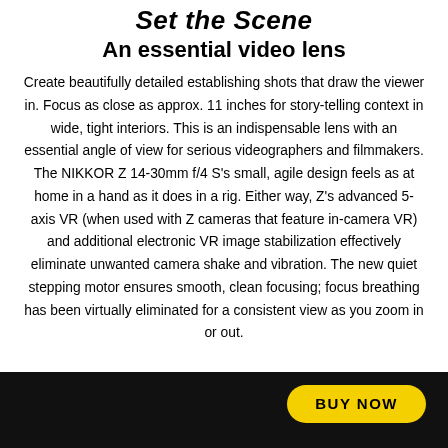Set the Scene
An essential video lens
Create beautifully detailed establishing shots that draw the viewer in. Focus as close as approx. 11 inches for story-telling context in wide, tight interiors. This is an indispensable lens with an essential angle of view for serious videographers and filmmakers. The NIKKOR Z 14-30mm f/4 S's small, agile design feels as at home in a hand as it does in a rig. Either way, Z's advanced 5-axis VR (when used with Z cameras that feature in-camera VR) and additional electronic VR image stabilization effectively eliminate unwanted camera shake and vibration. The new quiet stepping motor ensures smooth, clean focusing; focus breathing has been virtually eliminated for a consistent view as you zoom in or out.
BUY NOW